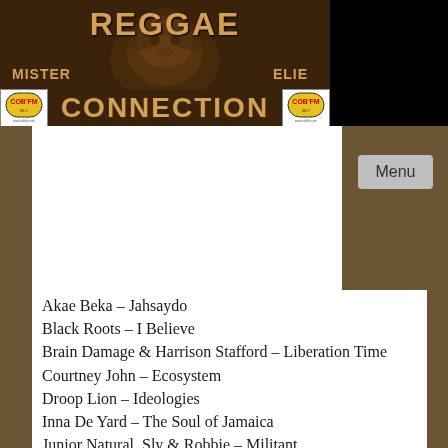[Figure (illustration): Reggae Connection banner with lion illustration. Shows 'REGGAE' at top, a sepia-toned lion head illustration in the center, 'MISTER' on the left and 'ELIE' on the right, COB FM logos on each side of 'CONNECTION' text at the bottom of the banner.]
Menu
Akae Beka – Jahsaydo
Black Roots – I Believe
Brain Damage & Harrison Stafford – Liberation Time
Courtney John – Ecosystem
Droop Lion – Ideologies
Inna De Yard – The Soul of Jamaica
Junior Natural, Sly & Robbie – Militant
Kingston All Stars – Presenting Kingston All Stars